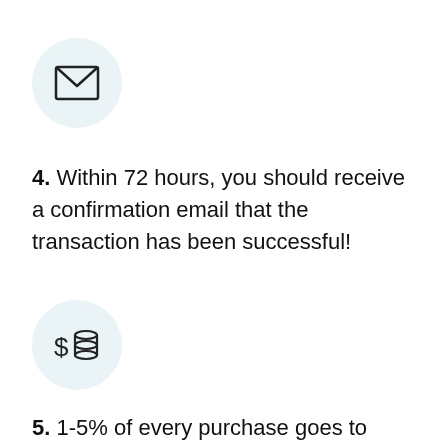[Figure (illustration): Light blue circle containing an envelope/email icon (line drawing)]
4. Within 72 hours, you should receive a confirmation email that the transaction has been successful!
[Figure (illustration): Light blue circle containing a dollar sign and database/stack icon (line drawing)]
5. 1-5% of every purchase goes to artanidas